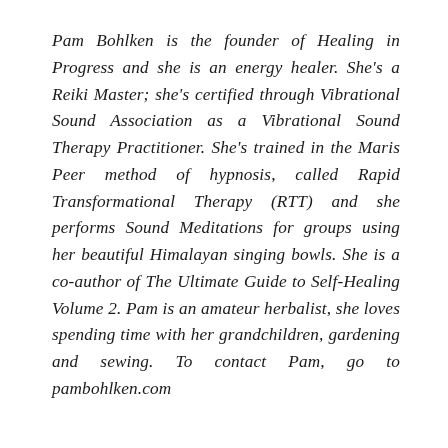Pam Bohlken is the founder of Healing in Progress and she is an energy healer. She's a Reiki Master; she's certified through Vibrational Sound Association as a Vibrational Sound Therapy Practitioner. She's trained in the Maris Peer method of hypnosis, called Rapid Transformational Therapy (RTT) and she performs Sound Meditations for groups using her beautiful Himalayan singing bowls. She is a co-author of The Ultimate Guide to Self-Healing Volume 2. Pam is an amateur herbalist, she loves spending time with her grandchildren, gardening and sewing. To contact Pam, go to pambohlken.com